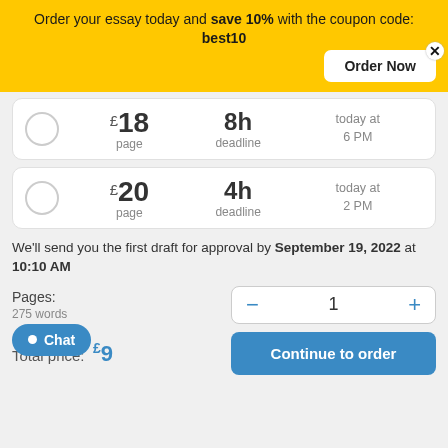Order your essay today and save 10% with the coupon code: best10
£18 / page | 8h deadline | today at 6 PM
£20 / page | 4h deadline | today at 2 PM
We'll send you the first draft for approval by September 19, 2022 at 10:10 AM
Pages: 275 words
Total price: £9
Continue to order
Chat